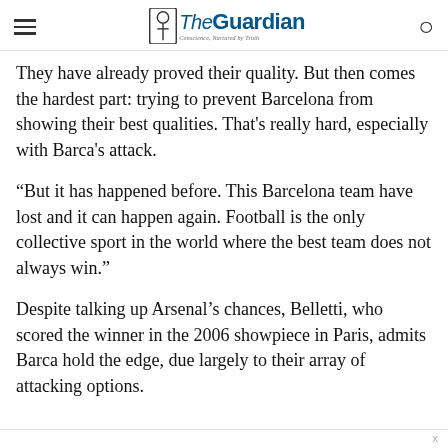The Guardian — Conscience, Nurtured by Truth
They have already proved their quality. But then comes the hardest part: trying to prevent Barcelona from showing their best qualities. That's really hard, especially with Barca's attack.
“But it has happened before. This Barcelona team have lost and it can happen again. Football is the only collective sport in the world where the best team does not always win.”
Despite talking up Arsenal’s chances, Belletti, who scored the winner in the 2006 showpiece in Paris, admits Barca hold the edge, due largely to their array of attacking options.